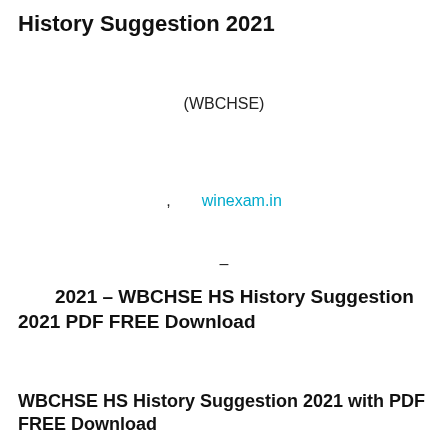History Suggestion 2021
(WBCHSE)
, winexam.in
-
2021 – WBCHSE HS History Suggestion 2021 PDF FREE Download
WBCHSE HS History Suggestion 2021 with PDF FREE Download